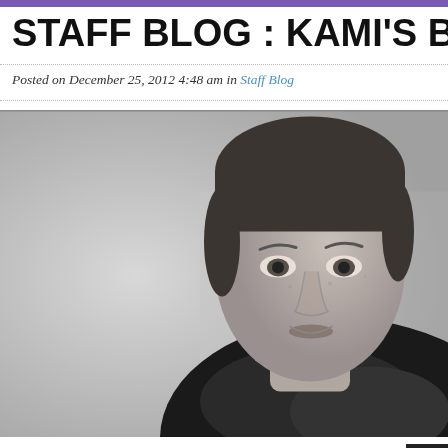STAFF BLOG : KAMI'S BEST O
Posted on December 25, 2012 4:48 am in Staff Blog
[Figure (photo): Black and white portrait photo of a young man with short hair wearing a dark fur-collared coat, looking directly at the camera.]
When I heard there was a new Blink EP on the way, the album already had the number-one slot on my mental list of favorites I was forming. I have been a Blink 182 fan since I was 11, learning how to play “First Date” on drums and wearing those